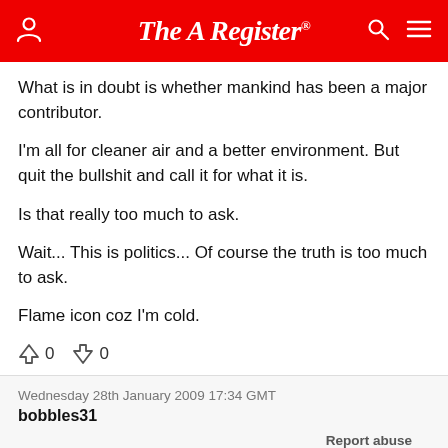The Register
What is in doubt is whether mankind has been a major contributor.

I'm all for cleaner air and a better environment. But quit the bullshit and call it for what it is.

Is that really too much to ask.

Wait... This is politics... Of course the truth is too much to ask.

Flame icon coz I'm cold.
↑0  ↓0
Wednesday 28th January 2009 17:34 GMT
bobbles31
Report abuse
More reasons to procrastinate